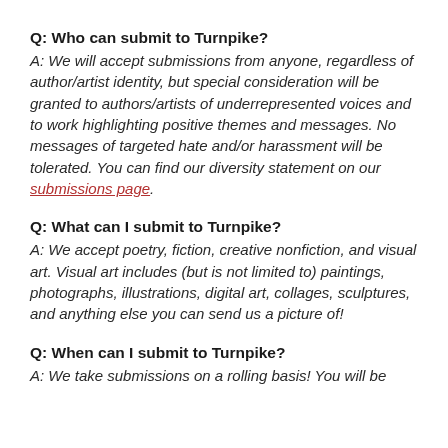Q: Who can submit to Turnpike?
A: We will accept submissions from anyone, regardless of author/artist identity, but special consideration will be granted to authors/artists of underrepresented voices and to work highlighting positive themes and messages. No messages of targeted hate and/or harassment will be tolerated. You can find our diversity statement on our submissions page.
Q: What can I submit to Turnpike?
A: We accept poetry, fiction, creative nonfiction, and visual art. Visual art includes (but is not limited to) paintings, photographs, illustrations, digital art, collages, sculptures, and anything else you can send us a picture of!
Q: When can I submit to Turnpike?
A: We take submissions on a rolling basis! You will be